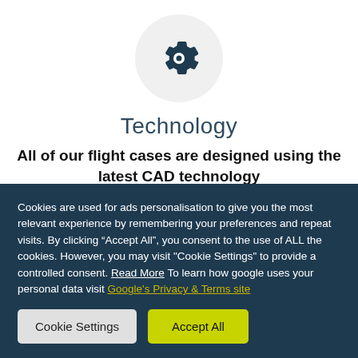[Figure (illustration): Gear/settings icon in a light gray circle]
Technology
All of our flight cases are designed using the latest CAD technology
Cookies are used for ads personalisation to give you the most relevant experience by remembering your preferences and repeat visits. By clicking “Accept All”, you consent to the use of ALL the cookies. However, you may visit "Cookie Settings" to provide a controlled consent. Read More To learn how google uses your personal data visit Google's Privacy & Terms site
Cookie Settings
Accept All